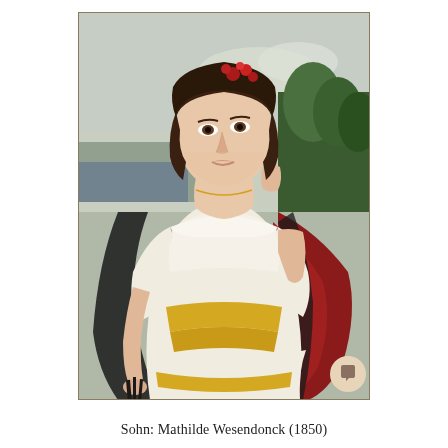[Figure (photo): Oil painting portrait of Mathilde Wesendonck (1850) by Sohn. A young woman in a white off-shoulder dress with gold satin ribbons and black lace shawl, wearing red flowers in her dark hair, posed against a landscape background with trees and sky, holding a dark fan in her left hand, right hand raised to her face.]
Sohn: Mathilde Wesendonck (1850)